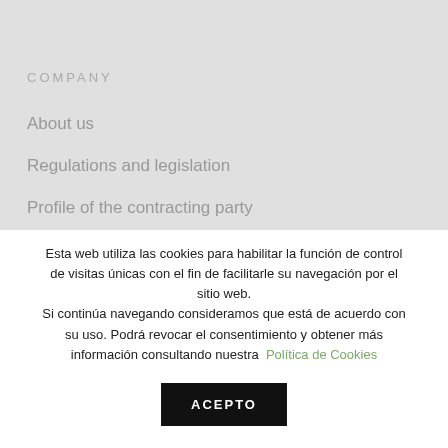COMPANY
About us
Regulations and legislation
Profile of the contracting party
Esta web utiliza las cookies para habilitar la función de control de visitas únicas con el fin de facilitarle su navegación por el sitio web.
Si continúa navegando consideramos que está de acuerdo con su uso. Podrá revocar el consentimiento y obtener más información consultando nuestra Política de Cookies
ACEPTO